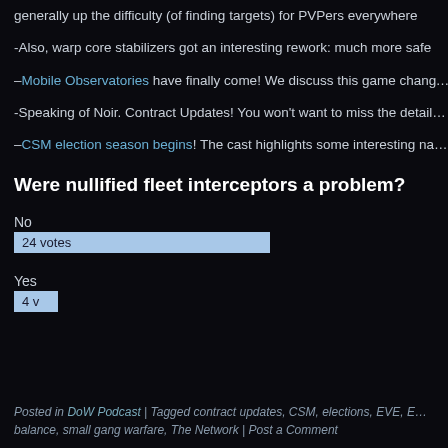generally up the difficulty (of finding targets) for PVPers everywhere
-Also, warp core stabilizers got an interesting rework: much more safe
–Mobile Observatories have finally come! We discuss this game chang…
-Speaking of Noir. Contract Updates! You won't want to miss the detail…
–CSM election season begins! The cast highlights some interesting na…
Were nullified fleet interceptors a problem?
No
[Figure (bar-chart): Were nullified fleet interceptors a problem?]
Yes
Posted in DoW Podcast | Tagged contract updates, CSM, elections, EVE, E… balance, small gang warfare, The Network | Post a Comment